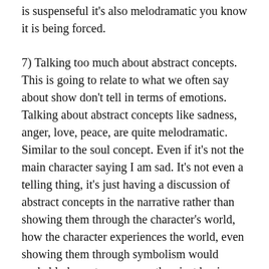is suspenseful it's also melodramatic you know it is being forced.
7) Talking too much about abstract concepts. This is going to relate to what we often say about show don't tell in terms of emotions. Talking about abstract concepts like sadness, anger, love, peace, are quite melodramatic. Similar to the soul concept. Even if it's not the main character saying I am sad. It's not even a telling thing, it's just having a discussion of abstract concepts in the narrative rather than showing them through the character's world, how the character experiences the world, even showing them through symbolism would probably be a stronger way than just having the character going on a little side tangent